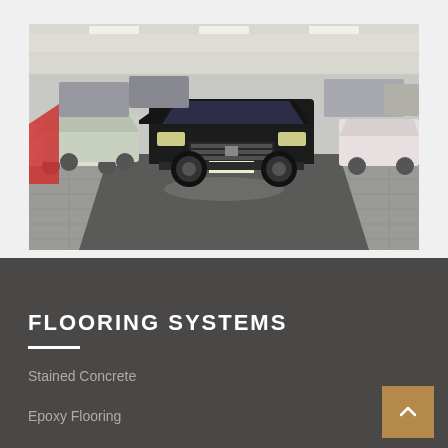[Figure (photo): Car dealership showroom interior with multiple vehicles on a polished concrete floor. A black SUV (Cadillac Escalade) is prominently centered, with other cars visible in the background. The floor features grey polished/stained concrete.]
FLOORING SYSTEMS
Stained Concrete
Epoxy Flooring